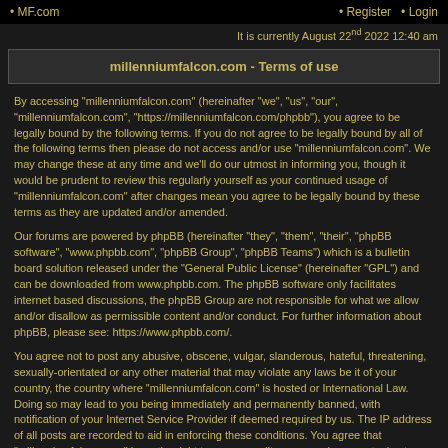• MF.com   • Register   • Login
It is currently August 22nd 2022 12:40 am
millenniumfalcon.com - Terms of use
By accessing "millenniumfalcon.com" (hereinafter "we", "us", "our", "millenniumfalcon.com", "https://millenniumfalcon.com/phpbb"), you agree to be legally bound by the following terms. If you do not agree to be legally bound by all of the following terms then please do not access and/or use "millenniumfalcon.com". We may change these at any time and we'll do our utmost in informing you, though it would be prudent to review this regularly yourself as your continued usage of "millenniumfalcon.com" after changes mean you agree to be legally bound by these terms as they are updated and/or amended.
Our forums are powered by phpBB (hereinafter "they", "them", "their", "phpBB software", "www.phpbb.com", "phpBB Group", "phpBB Teams") which is a bulletin board solution released under the "General Public License" (hereinafter "GPL") and can be downloaded from www.phpbb.com. The phpBB software only facilitates internet based discussions, the phpBB Group are not responsible for what we allow and/or disallow as permissible content and/or conduct. For further information about phpBB, please see: https://www.phpbb.com/.
You agree not to post any abusive, obscene, vulgar, slanderous, hateful, threatening, sexually-orientated or any other material that may violate any laws be it of your country, the country where "millenniumfalcon.com" is hosted or International Law. Doing so may lead to you being immediately and permanently banned, with notification of your Internet Service Provider if deemed required by us. The IP address of all posts are recorded to aid in enforcing these conditions. You agree that "millenniumfalcon.com" have the right to remove, edit, move or close any topic at any time should we see fit.